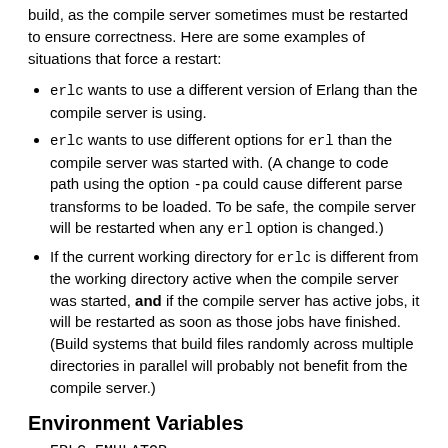build, as the compile server sometimes must be restarted to ensure correctness. Here are some examples of situations that force a restart:
erlc wants to use a different version of Erlang than the compile server is using.
erlc wants to use different options for erl than the compile server was started with. (A change to code path using the option -pa could cause different parse transforms to be loaded. To be safe, the compile server will be restarted when any erl option is changed.)
If the current working directory for erlc is different from the working directory active when the compile server was started, and if the compile server has active jobs, it will be restarted as soon as those jobs have finished. (Build systems that build files randomly across multiple directories in parallel will probably not benefit from the compile server.)
Environment Variables
ERLC_EMULATOR